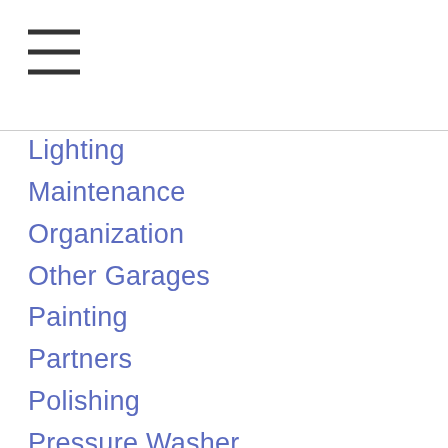[Figure (other): Hamburger menu icon with three horizontal lines]
Lighting
Maintenance
Organization
Other Garages
Painting
Partners
Polishing
Pressure Washer
Previous Rides
Products
QuickJack
Rinseless
Rupes
Storage
Swisstrax
Tools
Videos
Wheels